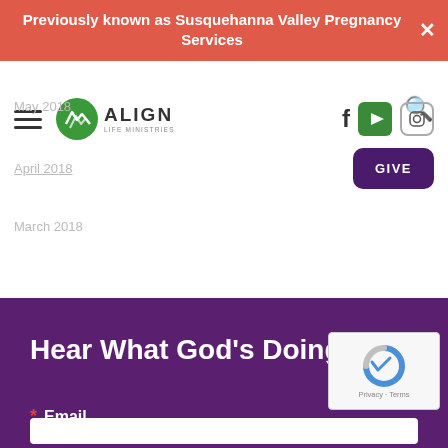Previously known as Susquehanna Valley Pregnancy Services
[Figure (logo): Align Life Ministries logo with green circular icon and text]
May 2018
April 2018
March 2018
Hear What God’s Doing!
* Email
[Figure (other): reCAPTCHA widget with Privacy - Terms text]